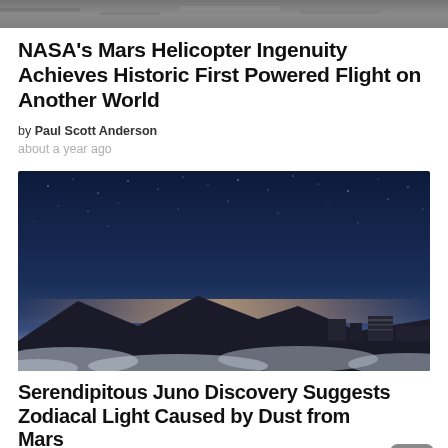[Figure (photo): Partial top strip image, likely a Mars surface or space photo, partially cropped at the top of the page.]
NASA's Mars Helicopter Ingenuity Achieves Historic First Powered Flight on Another World
by Paul Scott Anderson
about a year ago
[Figure (photo): Night sky photo showing a panoramic view from a high vantage point above clouds. Dark blue starry sky fades to a pink and orange glow near the horizon line. Mountain silhouettes and observatory or building structures visible in the lower right. Clouds fill the lower portion of the image.]
Serendipitous Juno Discovery Suggests Zodiacal Light Caused by Dust from Mars